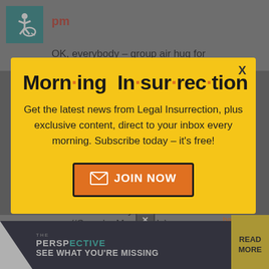pm
OK, everybody – group air hug for Kathleen!!! Have a super time in London,
[Figure (screenshot): Modal popup with yellow background for Morning Insurrection newsletter signup. Contains title 'Morn·ing In·sur·rec·tion', body text 'Get the latest news from Legal Insurrection, plus exclusive content, direct to your inbox every morning. Subscribe today – it's free!', and an orange JOIN NOW button with envelope icon. An X close button appears in the top right of the modal.]
named Bartley I'never seen! (/Groucho Marx mode)
[Figure (screenshot): Bottom advertisement banner with dark background showing 'THE PERSPECTIVE' logo in teal/white and 'SEE WHAT YOU'RE MISSING' text with a READ MORE button in yellow on the right.]